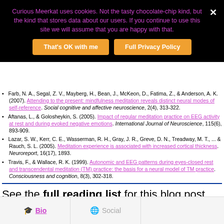Curious Meerkat uses cookies. Not the tasty chocolate-chip kind, but the kind that stores data about our users. If you continue to use this site we will assume that you are happy with that.
That's OK with me | Full Privacy Policy
Farb, N. A., Segal, Z. V., Mayberg, H., Bean, J., McKeon, D., Fatima, Z., & Anderson, A. K. (2007). Attending to the present: mindfulness meditation reveals distinct neural modes of self-reference. Social cognitive and affective neuroscience, 2(4), 313-322.
Aftanas, L., & Golosheykin, S. (2005). Impact of regular meditation practice on EEG activity at rest and during evoked negative emotions. International Journal of Neuroscience, 115(6), 893-909.
Lazar, S. W., Kerr, C. E., Wasserman, R. H., Gray, J. R., Greve, D. N., Treadway, M. T., ... & Rauch, S. L. (2005). Meditation experience is associated with increased cortical thickness. Neuroreport, 16(17), 1893.
Travis, F., & Wallace, R. K. (1999). Autonomic and EEG patterns during eyes-closed rest and transcendental meditation (TM) practice: the basis for a neural model of TM practice. Consciousness and cognition, 8(3), 302-318.
See the full reading list for this blog post here. (Members Only content – become a Patron to access this extra content and much more!)
Bio  Social